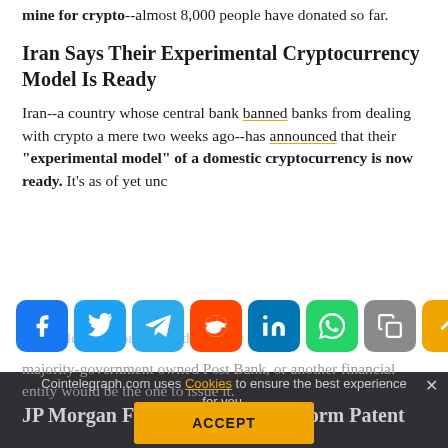mine for crypto--almost 8,000 people have donated so far.
Iran Says Their Experimental Cryptocurrency Model Is Ready
Iran--a country whose central bank banned banks from dealing with crypto a mere two weeks ago--has announced that their “experimental model” of a domestic cryptocurrency is now ready. It’s as of yet und... ava...
[Figure (infographic): Social media share buttons: Facebook, Twitter, Telegram, Reddit, LinkedIn, WhatsApp, Copy, Scroll-up]
majority-government owned Post Bank, or another financial entity would be the one to issue it.
Cointelegraph.com uses Cookies to ensure the best experience for you.
JP Morgan Files Bl... orm Patent